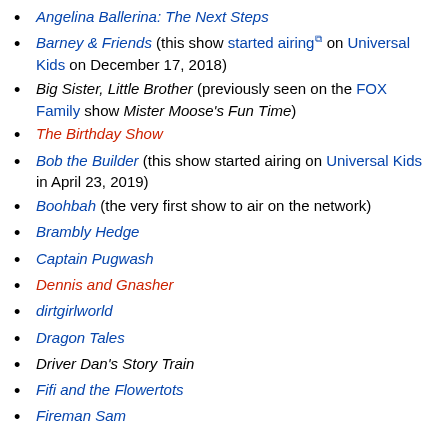Angelina Ballerina: The Next Steps
Barney & Friends (this show started airing [ext] on Universal Kids on December 17, 2018)
Big Sister, Little Brother (previously seen on the FOX Family show Mister Moose's Fun Time)
The Birthday Show
Bob the Builder (this show started airing on Universal Kids in April 23, 2019)
Boohbah (the very first show to air on the network)
Brambly Hedge
Captain Pugwash
Dennis and Gnasher
dirtgirlworld
Dragon Tales
Driver Dan's Story Train
Fifi and the Flowertots
Fireman Sam